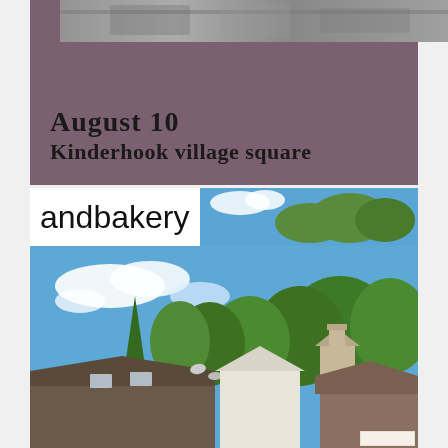[Figure (photo): Top image strip partially visible - appears to be a band or concert photo in grayscale]
August 10
Kinderhook village square
andbakery
[Figure (photo): Outdoor photo showing rooftops of small-town buildings with large green trees behind them and a blue sky with white clouds. A small bell tower or cupola is visible. A sign reading 'TILDEN BROS' is visible at the bottom right corner.]